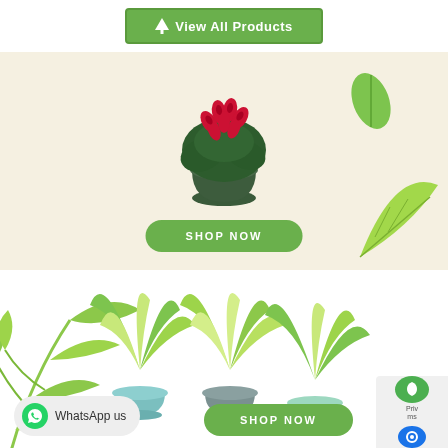[Figure (screenshot): Green 'View All Products' button with tree icon at top of page]
[Figure (illustration): Cream-background banner section with red cyclamen plant in dark pot, decorative green leaves on right, and 'SHOP NOW' green pill button]
[Figure (illustration): White-background section with three spider plants in pastel teal/grey pots, tropical leaf background on left, 'SHOP NOW' green pill button, 'WhatsApp us' pill button with green WhatsApp icon, and partial privacy/cookie badge bottom right]